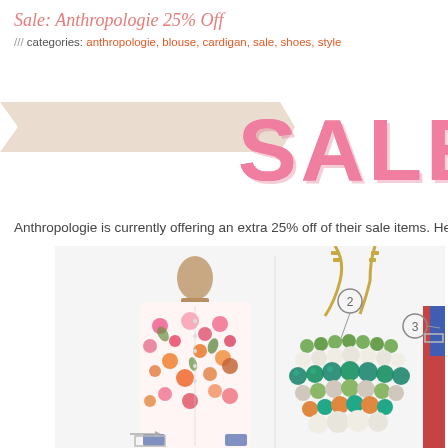Sale: Anthropologie 25% Off
/// categories: anthropologie, blouse, cardigan, sale, shoes, style
[Figure (illustration): Large pink 'SALE' text with a decorative banner/ribbon graphic on a white background]
Anthropologie is currently offering an extra 25% off of their sale items. Here are a f
[Figure (photo): Photo collage showing: (1) a floral print button-down shirt/dress on a mannequin with pink, orange, red flowers on white background with blue cuffs; (2) a statement bib necklace with green, white, teal and orange beads on a gold chain with a circled number 2 label; (3) partially visible item with red and blue colors with circled number 3 label]